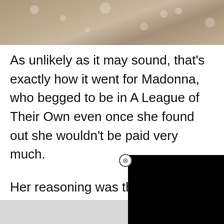[Figure (photo): Sepia-toned floral/bokeh photo banner at top of page]
As unlikely as it may sound, that's exactly how it went for Madonna, who begged to be in A League of Their Own even once she found out she wouldn't be paid very much.
Her reasoning was that she wanted to diversify her career, an and message of the m
[Figure (screenshot): Black video overlay rectangle with close button (circled X)]